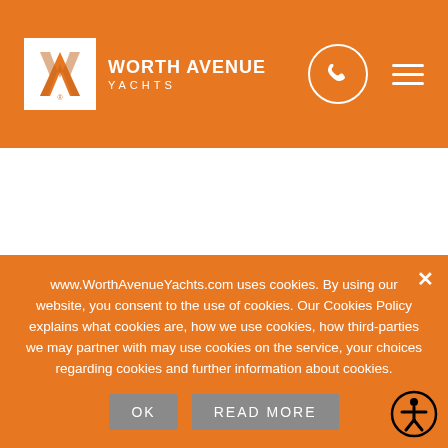[Figure (logo): Worth Avenue Yachts logo with W emblem in white box, brand name and tagline in white on orange header background]
[Figure (screenshot): White content area representing a partially visible yacht listing page]
ARCHELON
Cabins: 5
Guests: 12
www.WorthAvenueYachts.com uses cookies. By using our website, you consent to the use of cookies. Our Cookies Policy explains what cookies are, how we use cookies, how third-parties we may partner with may use cookies on the service, your choices regarding cookies and further information about cookies.
OK
READ MORE